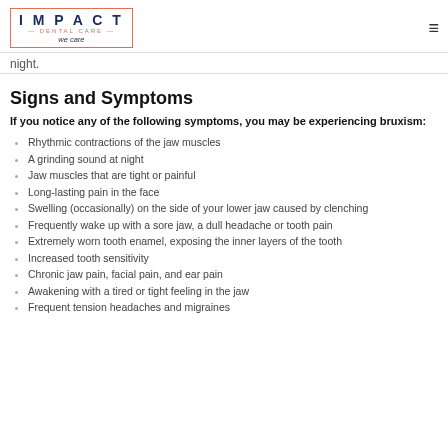IMPACT DENTAL CARE — we care
night.
Signs and Symptoms
If you notice any of the following symptoms, you may be experiencing bruxism:
Rhythmic contractions of the jaw muscles
A grinding sound at night
Jaw muscles that are tight or painful
Long-lasting pain in the face
Swelling (occasionally) on the side of your lower jaw caused by clenching
Frequently wake up with a sore jaw, a dull headache or tooth pain
Extremely worn tooth enamel, exposing the inner layers of the tooth
Increased tooth sensitivity
Chronic jaw pain, facial pain, and ear pain
Awakening with a tired or tight feeling in the jaw
Frequent tension headaches and migraines